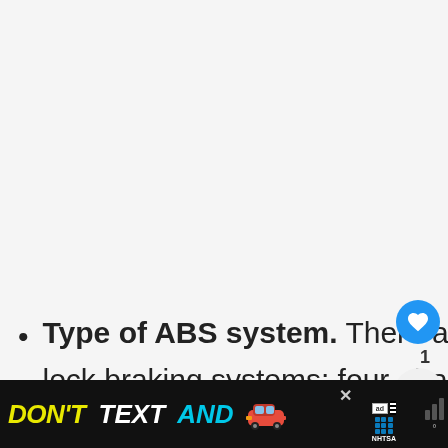[Figure (other): Large grey/white empty content area (image placeholder or video embed area)]
Type of ABS system. There are three major types of anti-lock braking systems: four-channel, three-channel, ...
[Figure (screenshot): UI overlay elements: heart/like button (blue circle), like count '1', share button, 'WHAT'S NEXT → Tie Rods Replacemen...' panel with thumbnail]
[Figure (other): Advertisement banner: 'DON'T TEXT AND' with car emoji, ad badge with NHTSA logo, close button, weather widget]